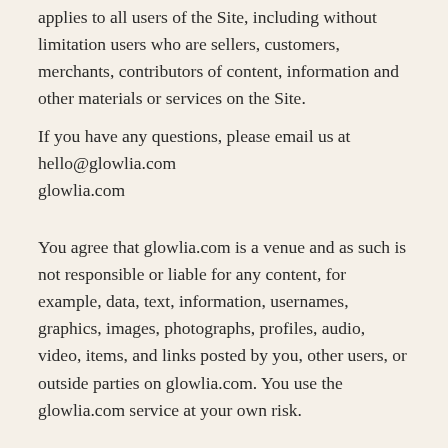applies to all users of the Site, including without limitation users who are sellers, customers, merchants, contributors of content, information and other materials or services on the Site.
If you have any questions, please email us at hello@glowlia.com
glowlia.com
You agree that glowlia.com is a venue and as such is not responsible or liable for any content, for example, data, text, information, usernames, graphics, images, photographs, profiles, audio, video, items, and links posted by you, other users, or outside parties on glowlia.com. You use the glowlia.com service at your own risk.
...subject to Eligibility...